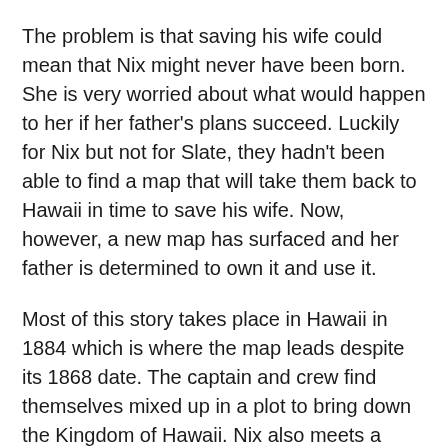The problem is that saving his wife could mean that Nix might never have been born. She is very worried about what would happen to her if her father's plans succeed. Luckily for Nix but not for Slate, they hadn't been able to find a map that will take them back to Hawaii in time to save his wife. Now, however, a new map has surfaced and her father is determined to own it and use it.
Most of this story takes place in Hawaii in 1884 which is where the map leads despite its 1868 date. The captain and crew find themselves mixed up in a plot to bring down the Kingdom of Hawaii. Nix also meets a woman who knew her mother and who seems to know quite a bit about the sort of time traveling that Nix and her father are capable of doing.
Nix also meets a boy. Blake Hart is the nephew of the mapmaker who created the 1868 map that Slate is determined to own no matter what the cost is to the Hawaii that currently exists. He is an artist and a strong supporter of the Kingdom of Hawaii. His father, however, is one of the key supporters of the plot to overthrow the current government